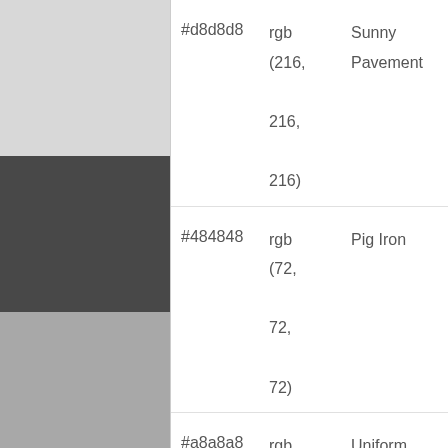| Hex | RGB | Name |
| --- | --- | --- |
| #d8d8d8 | rgb (216, 216, 216) | Sunny Pavement |
| #484848 | rgb (72, 72, 72) | Pig Iron |
| #a8a8a8 | rgb (168, 168, 168) | Uniform Grey |